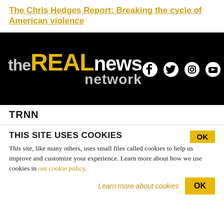The Chris Hedges Report: Breaking the cycle of American violence
[Figure (logo): The Real News Network logo with social media icons (Facebook, Twitter, Instagram, YouTube, RSS) on black background]
TRNN
THIS SITE USES COOKIES
This site, like many others, uses small files called cookies to help us improve and customize your experience. Learn more about how we use cookies in our cookie policy.
Learn more about cookies   OK